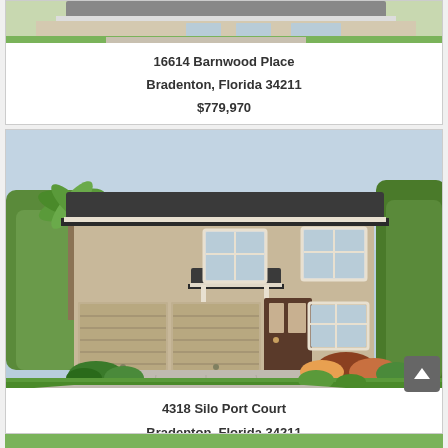[Figure (photo): Partial top view of a house exterior with green landscaping, cropped at top of page]
16614 Barnwood Place
Bradenton, Florida 34211
$779,970
[Figure (photo): Two-story beige stucco house with dark roof, three-car garage, and manicured landscaping]
4318 Silo Port Court
Bradenton, Florida 34211
$777,485